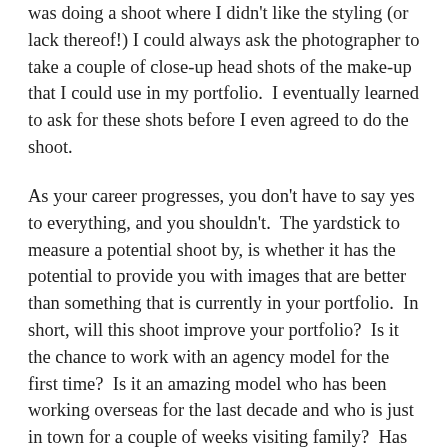was doing a shoot where I didn't like the styling (or lack thereof!) I could always ask the photographer to take a couple of close-up head shots of the make-up that I could use in my portfolio.  I eventually learned to ask for these shots before I even agreed to do the shoot.
As your career progresses, you don't have to say yes to everything, and you shouldn't.  The yardstick to measure a potential shoot by, is whether it has the potential to provide you with images that are better than something that is currently in your portfolio.  In short, will this shoot improve your portfolio?  Is it the chance to work with an agency model for the first time?  Is it an amazing model who has been working overseas for the last decade and who is just in town for a couple of weeks visiting family?  Has the photographer been published in a lot of magazines? This is what Tania was referring to when she encouraged me to